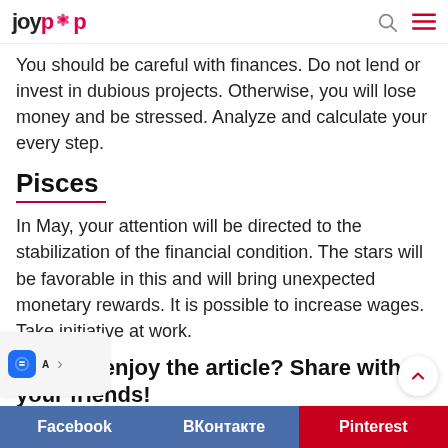joypop
You should be careful with finances. Do not lend or invest in dubious projects. Otherwise, you will lose money and be stressed. Analyze and calculate your every step.
Pisces
In May, your attention will be directed to the stabilization of the financial condition. The stars will be favorable in this and will bring unexpected monetary rewards. It is possible to increase wages. Take initiative at work.
Did you enjoy the article? Share with your friends!